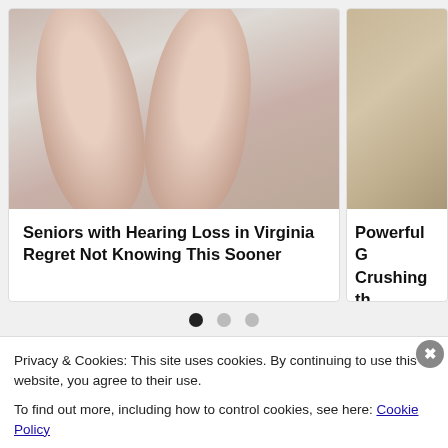[Figure (photo): Close-up photo of two human thumbs holding small hearing aid devices against a grey background]
Seniors with Hearing Loss in Virginia Regret Not Knowing This Sooner
[Figure (photo): Partial photo showing a textured surface, cropped on the right side of screen]
Powerful G Crushing th
• • •  (carousel dots)
[Figure (photo): Thumbnail photo of grass/outdoor scene]
[Photos] Toddler Missing For 2
Privacy & Cookies: This site uses cookies. By continuing to use this website, you agree to their use.
To find out more, including how to control cookies, see here: Cookie Policy
Close and accept